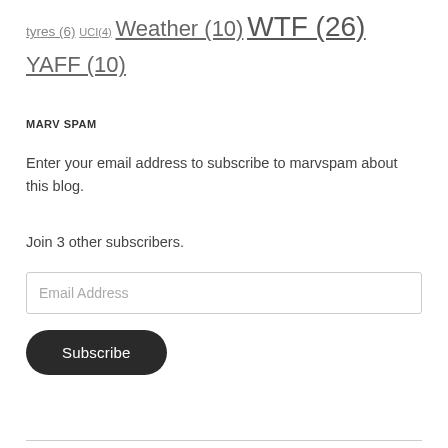tyres (6) UCI (4) Weather (10) WTF (26) YAFF (10)
MARV SPAM
Enter your email address to subscribe to marvspam about this blog.
Join 3 other subscribers.
Email Address
Subscribe